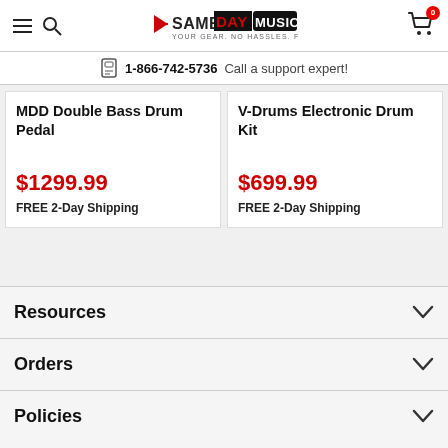[Figure (logo): Same Day Music logo with tagline YOUR GEAR. NO HASSLES. FAST.]
1-866-742-5736  Call a support expert!
MDD Double Bass Drum Pedal
$1299.99
FREE 2-Day Shipping
V-Drums Electronic Drum Kit
$699.99
FREE 2-Day Shipping
Resources
Orders
Policies